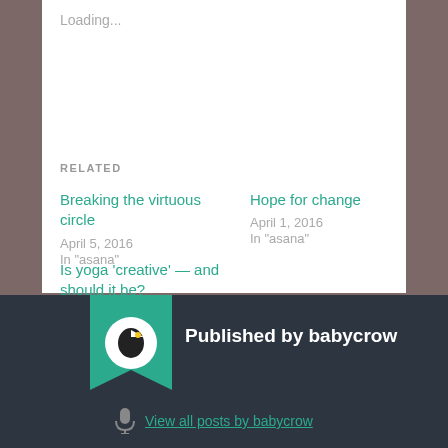Loading...
RELATED
Breaking the virtuous circle
April 5, 2016
In "asana"
Hope for change
April 1, 2016
In "asana"
Is yoga ‘creative’ — and should it be?
April 6, 2016
In "asana"
Published by babycrow
View all posts by babycrow